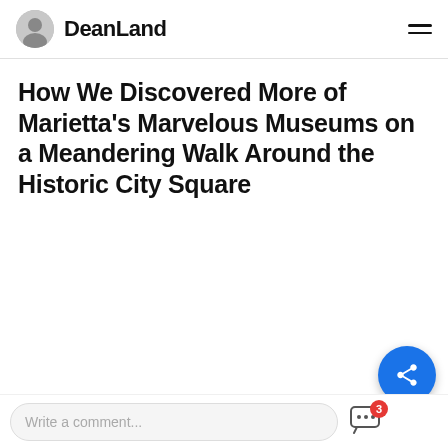DeanLand
How We Discovered More of Marietta's Marvelous Museums on a Meandering Walk Around the Historic City Square
[Figure (photo): Blank/white image placeholder area below the article title]
Marietta's Gone with the Wind Museum and the